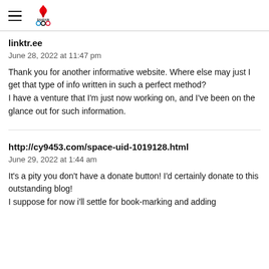Bahrain Olympic Committee
linktr.ee
June 28, 2022 at 11:47 pm
Thank you for another informative website. Where else may just I get that type of info written in such a perfect method?
I have a venture that I'm just now working on, and I've been on the glance out for such information.
http://cy9453.com/space-uid-1019128.html
June 29, 2022 at 1:44 am
It's a pity you don't have a donate button! I'd certainly donate to this outstanding blog!
I suppose for now i'll settle for book-marking and adding